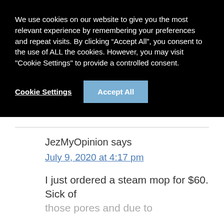We use cookies on our website to give you the most relevant experience by remembering your preferences and repeat visits. By clicking “Accept All”, you consent to the use of ALL the cookies. However, you may visit "Cookie Settings" to provide a controlled consent.
Cookie Settings
Accept All
JezMyOpinion says
July 9, 2020 at 4:17 pm
I just ordered a steam mop for $60. Sick of those pores and due to